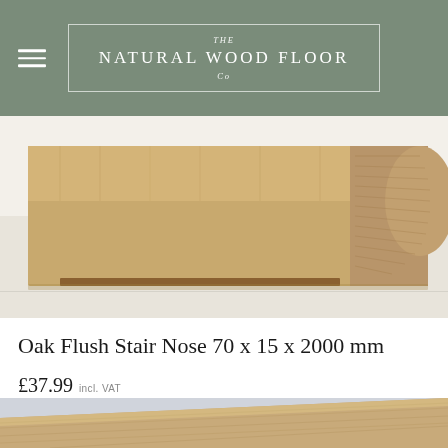THE NATURAL WOOD FLOOR Co
[Figure (photo): Close-up product photo of an oak flush stair nose moulding cross-section showing the timber grain and profile shape against a white background]
Oak Flush Stair Nose 70 x 15 x 2000 mm
£37.99 incl. VAT
[Figure (photo): Close-up photo of the top surface of an oak flush stair nose showing the wood grain texture against a light grey/blue background]